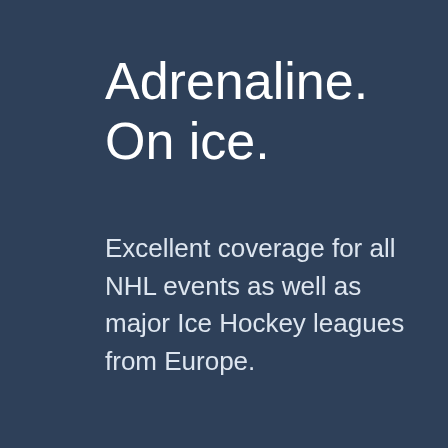Adrenaline. On ice.
Excellent coverage for all NHL events as well as major Ice Hockey leagues from Europe.